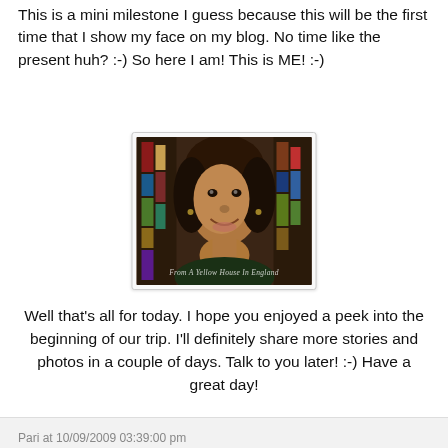This is a mini milestone I guess because this will be the first time that I show my face on my blog. No time like the present huh? :-) So here I am! This is ME! :-)
[Figure (photo): Portrait photo of a smiling woman with curly dark hair, resting her chin on her hand. Background shows bookshelves. Watermark reads 'From A Yellow House In England'.]
Well that's all for today. I hope you enjoyed a peek into the beginning of our trip. I'll definitely share more stories and photos in a couple of days. Talk to you later! :-) Have a great day!
Pari at 10/09/2009 03:39:00 pm